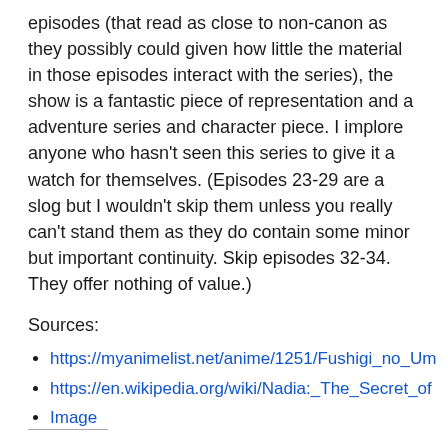episodes (that read as close to non-canon as they possibly could given how little the material in those episodes interact with the series), the show is a fantastic piece of representation and a adventure series and character piece. I implore anyone who hasn't seen this series to give it a watch for themselves. (Episodes 23-29 are a slog but I wouldn't skip them unless you really can't stand them as they do contain some minor but important continuity. Skip episodes 32-34. They offer nothing of value.)
Sources:
https://myanimelist.net/anime/1251/Fushigi_no_Um...
https://en.wikipedia.org/wiki/Nadia:_The_Secret_of...
Image